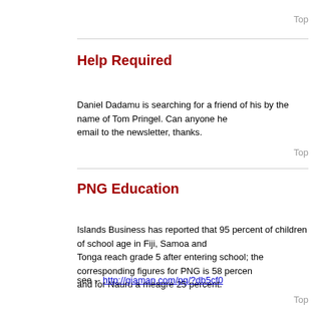Top
Help Required
Daniel Dadamu is searching for a friend of his by the name of Tom Pringel. Can anyone help. email to the newsletter, thanks.
Top
PNG Education
Islands Business has reported that 95 percent of children of school age in Fiji, Samoa and Tonga reach grade 5 after entering school; the corresponding figures for PNG is 58 percent and for Nauru a meagre 25 percent.
see -- http://giaman.com/pg/?db5cf0
Top